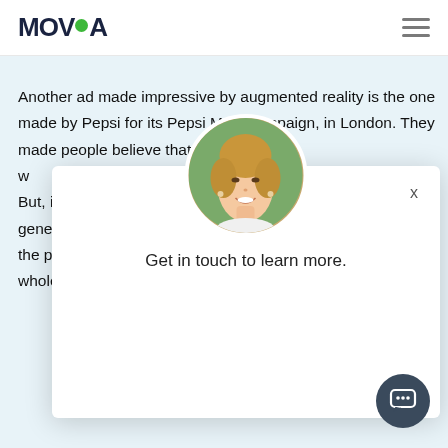MOVIA
Another ad made impressive by augmented reality is the one made by Pepsi for its Pepsi MAX campaign, in London. They made people believe that they w... some horrifying event... ass. But, in reality, th... so real that it gene... g; the public. The a... whole interactiv...
[Figure (photo): Chat popup overlay with circular avatar photo of a smiling blonde woman, close button 'x', and text 'Get in touch to learn more.']
[Figure (other): Dark circular chat button with speech bubble icon at bottom right of page]